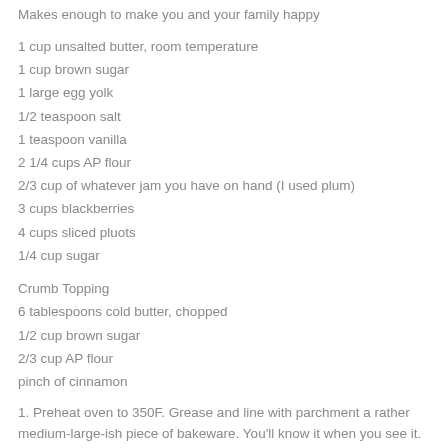Makes enough to make you and your family happy
1 cup unsalted butter, room temperature
1 cup brown sugar
1 large egg yolk
1/2 teaspoon salt
1 teaspoon vanilla
2 1/4 cups AP flour
2/3 cup of whatever jam you have on hand (I used plum)
3 cups blackberries
4 cups sliced pluots
1/4 cup sugar
Crumb Topping
6 tablespoons cold butter, chopped
1/2 cup brown sugar
2/3 cup AP flour
pinch of cinnamon
1. Preheat oven to 350F. Grease and line with parchment a rather medium-large-ish piece of bakeware. You'll know it when you see it.